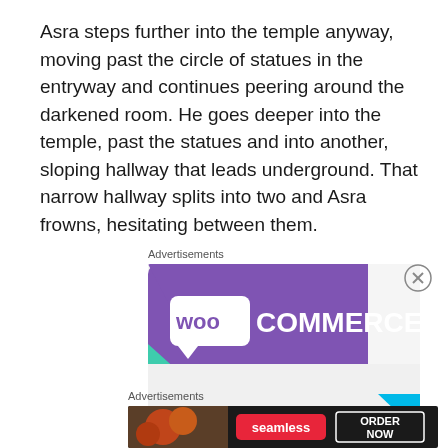Asra steps further into the temple anyway, moving past the circle of statues in the entryway and continues peering around the darkened room. He goes deeper into the temple, past the statues and into another, sloping hallway that leads underground. That narrow hallway splits into two and Asra frowns, hesitating between them.
Advertisements
[Figure (illustration): WooCommerce advertisement banner with purple background and teal triangle shape]
Advertisements
[Figure (illustration): Seamless food ordering advertisement with pizza image and ORDER NOW button]